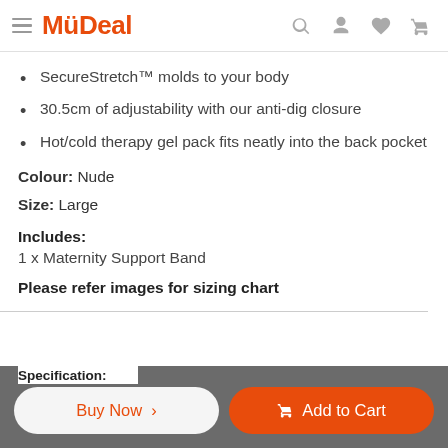MyDeal
SecureStretch™ molds to your body
30.5cm of adjustability with our anti-dig closure
Hot/cold therapy gel pack fits neatly into the back pocket
Colour: Nude
Size: Large
Includes:
1 x Maternity Support Band
Please refer images for sizing chart
Specification: